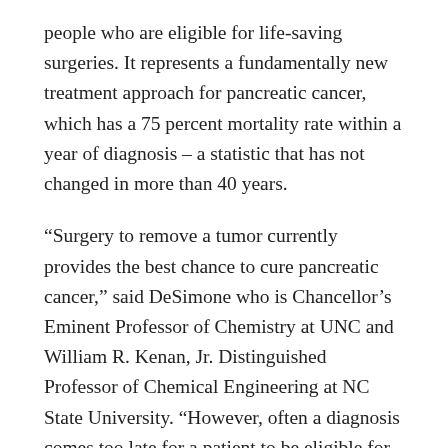people who are eligible for life-saving surgeries. It represents a fundamentally new treatment approach for pancreatic cancer, which has a 75 percent mortality rate within a year of diagnosis – a statistic that has not changed in more than 40 years.
“Surgery to remove a tumor currently provides the best chance to cure pancreatic cancer,” said DeSimone who is Chancellor’s Eminent Professor of Chemistry at UNC and William R. Kenan, Jr. Distinguished Professor of Chemical Engineering at NC State University. “However, often a diagnosis comes too late for a patient to be eligible for surgery due to the tendency of the tumors to